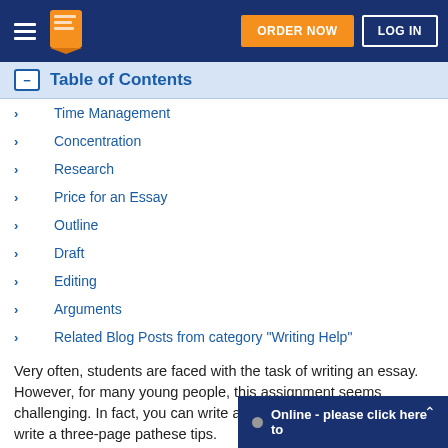ORDER NOW  LOG IN
Table of Contents
Time Management
Concentration
Research
Price for an Essay
Outline
Draft
Editing
Arguments
Related Blog Posts from category "Writing Help"
Very often, students are faced with the task of writing an essay. However, for many young people, this assignment seems challenging. In fact, you can write a three-page pa... these tips.